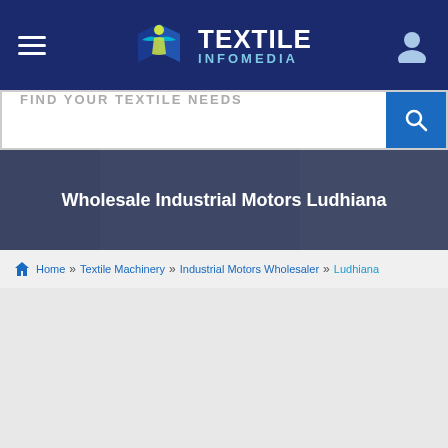[Figure (logo): Textile Infomedia logo with stylized person/bird graphic in green and cyan, text TEXTILE INFOMEDIA in white and light blue]
[Figure (screenshot): Search bar with placeholder text FIND YOUR TEXTILE NEEDS and blue search button with magnifying glass icon]
Wholesale Industrial Motors Ludhiana
Home » Textile Machinery » Industrial Motors Wholesaler » Ludhiana